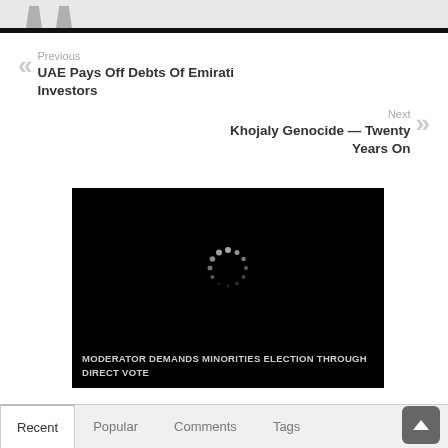[Figure (screenshot): Top navigation bar with two person/user icon placeholders on gray background]
Previous
UAE Pays Off Debts Of Emirati Investors
Next
Khojaly Genocide — Twenty Years On
[Figure (screenshot): Black video player with loading spinner and caption: MODERATOR DEMANDS MINORITIES ELECTION THROUGH DIRECT VOTE]
Recent | Popular | Comments | Tags